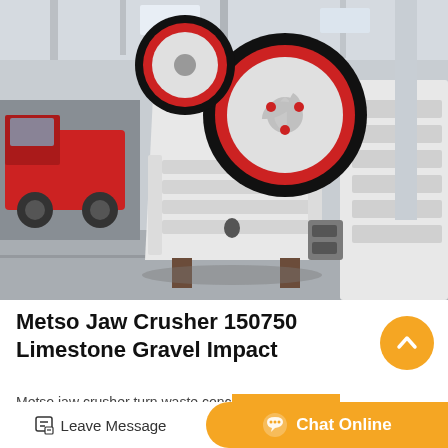[Figure (photo): A large white Metso jaw crusher machine with red and black flywheel, photographed in an industrial factory/warehouse setting. A red truck is visible in the background on the left, and another white crusher unit is partially visible on the right.]
Metso Jaw Crusher 150750 Limestone Gravel Impact
Metso jaw crusher turn waste conc...
Leave Message
Chat Online